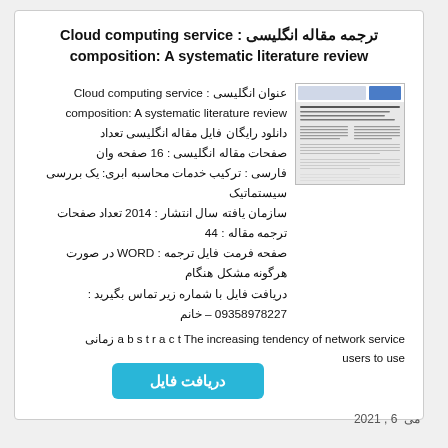ترجمه مقاله انگلیسی : Cloud computing service composition: A systematic literature review
عنوان انگلیسی : Cloud computing service composition: A systematic literature review دانلود رایگان فایل مقاله انگلیسی تعداد صفحات مقاله انگلیسی : 16 صفحه وان فارسی : ترکیب خدمات محاسبه ابری: یک بررسی سیستماتیک سازمان یافته سال انتشار : 2014 تعداد صفحات ترجمه مقاله : 44 صفحه فرمت فایل ترجمه : WORD در صورت هرگونه مشکل هنگام دریافت فایل با شماره زیر تماس بگیرید : 09358978227 – خانم
[Figure (illustration): Thumbnail image of the article cover showing Elsevier journal header and article text]
a b s t r a c t The increasing tendency of network service زمانی users to use
دریافت فایل
می 6, 2021